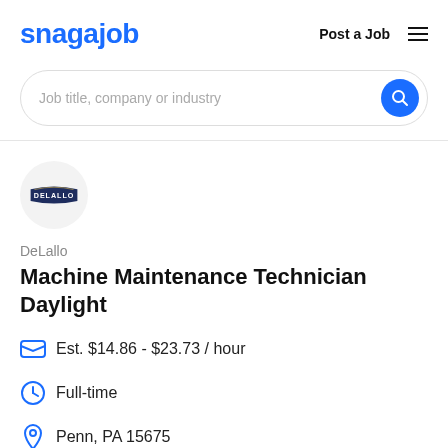snagajob   Post a Job
Job title, company or industry
[Figure (logo): DeLallo company logo — dark navy badge shape with 'DELALLO' text in white]
DeLallo
Machine Maintenance Technician Daylight
Est. $14.86 - $23.73 / hour
Full-time
Penn, PA 15675